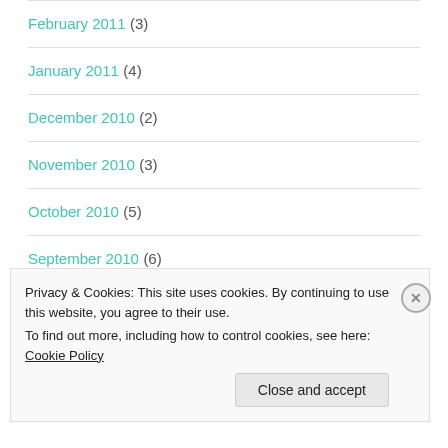February 2011 (3)
January 2011 (4)
December 2010 (2)
November 2010 (3)
October 2010 (5)
September 2010 (6)
Privacy & Cookies: This site uses cookies. By continuing to use this website, you agree to their use.
To find out more, including how to control cookies, see here: Cookie Policy
Close and accept